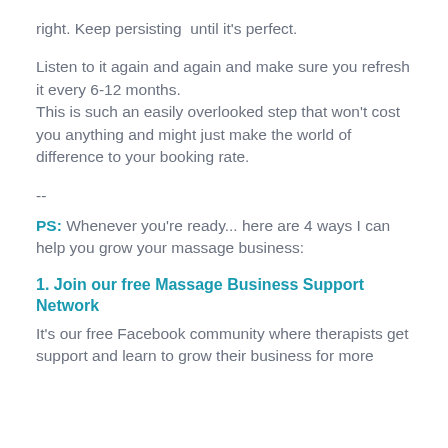right. Keep persisting  until it's perfect.
Listen to it again and again and make sure you refresh it every 6-12 months.
This is such an easily overlooked step that won't cost you anything and might just make the world of difference to your booking rate.
--
PS: Whenever you're ready... here are 4 ways I can help you grow your massage business:
1. Join our free Massage Business Support Network
It's our free Facebook community where therapists get support and learn to grow their business for more